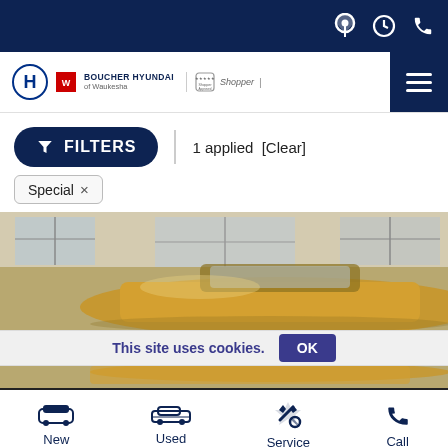Boucher Hyundai of Waukesha — navigation bar with location, hours, phone icons
[Figure (logo): Boucher Hyundai of Waukesha logo with Hyundai H emblem and Shopper Approved badge]
FILTERS | 1 applied [Clear]
Special ×
[Figure (photo): Car in a garage/showroom setting, viewed from above/side, golden/yellow color]
This site uses cookies. OK
[Figure (photo): Bottom portion of car image]
New | Used | Service | Call